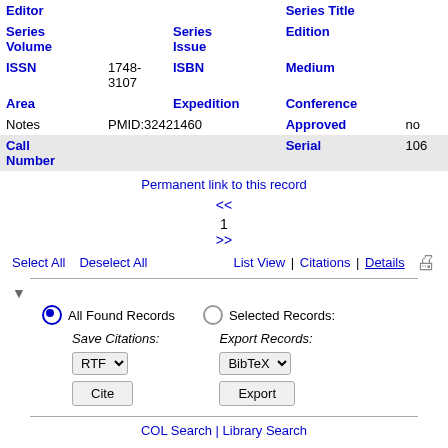| Field | Value | Field | Value |
| --- | --- | --- | --- |
| Editor |  | Series Title |  |
| Series Volume | Series Issue | Edition |  |
| ISSN | 1748-3107 | ISBN | Medium |
| Area |  | Expedition | Conference |
| Notes | PMID:32421460 | Approved | no |
| Call Number |  | Serial | 106 |
Permanent link to this record
<< 1 >>
Select All   Deselect All   List View | Citations | Details
▼
All Found Records   Selected Records:
Save Citations: RTF
Export Records: BibTeX
Cite   Export
COL Search | Library Search